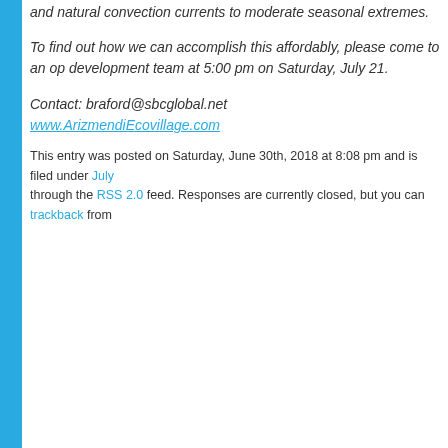and natural convection currents to moderate seasonal extremes.
To find out how we can accomplish this affordably, please come to an op development team at 5:00 pm on Saturday, July 21.
Contact: braford@sbcglobal.net
www.ArizmendiEcovillage.com
This entry was posted on Saturday, June 30th, 2018 at 8:08 pm and is filed under July through the RSS 2.0 feed. Responses are currently closed, but you can trackback from